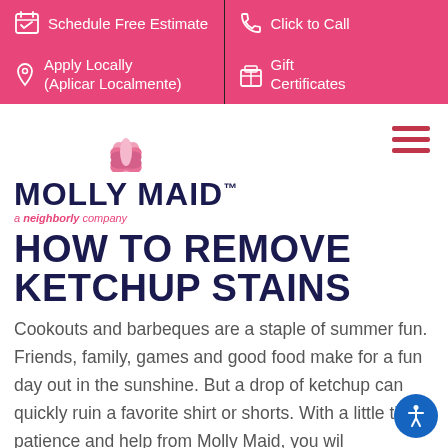Schedule Free Estimate | Click to Call | Apply Locally (Aplicar Localmente) | Gift Certificates
[Figure (logo): Molly Maid logo with pink lotus flower and 'a neighborly company' tagline]
HOW TO REMOVE KETCHUP STAINS
Cookouts and barbeques are a staple of summer fun. Friends, family, games and good food make for a fun day out in the sunshine. But a drop of ketchup can quickly ruin a favorite shirt or shorts. With a little time, patience and help from Molly Maid, you will